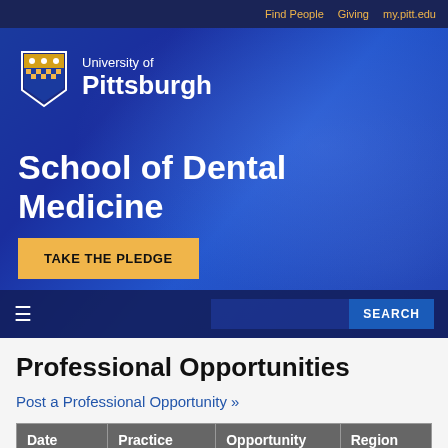Find People   Giving   my.pitt.edu
[Figure (logo): University of Pittsburgh shield logo with text 'University of Pittsburgh']
School of Dental Medicine
TAKE THE PLEDGE
≡  SEARCH
Professional Opportunities
Post a Professional Opportunity »
| Date | Practice | Opportunity | Region |
| --- | --- | --- | --- |
| August 15, ... | Pittsburgh ... | Dental Assistant | Pennsy... |